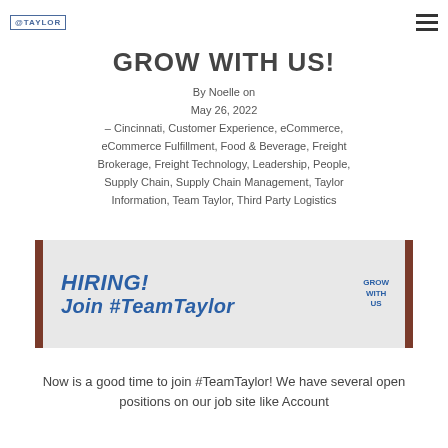@TAYLOR
GROW WITH US!
By Noelle on May 26, 2022 – Cincinnati, Customer Experience, eCommerce, eCommerce Fulfillment, Food & Beverage, Freight Brokerage, Freight Technology, Leadership, People, Supply Chain, Supply Chain Management, Taylor Information, Team Taylor, Third Party Logistics
[Figure (photo): Hiring banner image with text 'HIRING! Join #TeamTaylor' and 'GROW WITH US' logo on a light background with wooden border posts]
Now is a good time to join #TeamTaylor! We have several open positions on our job site like Account